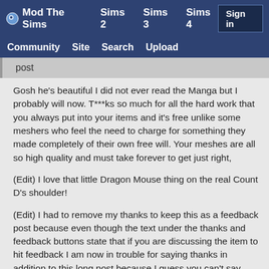Mod The Sims   Sims 2   Sims 3   Sims 4   Sign in   Community   Site   Search   Upload
post
Gosh he's beautiful I did not ever read the Manga but I probably will now. T***ks so much for all the hard work that you always put into your items and it's free unlike some meshers who feel the need to charge for something they made completely of their own free will. Your meshes are all so high quality and must take forever to get just right,
(Edit) I love that little Dragon Mouse thing on the real Count D's shoulder!
(Edit) I had to remove my thanks to keep this as a feedback post because even though the text under the thanks and feedback buttons state that if you are discussing the item to hit feedback I am now in trouble for saying thanks in addition to this long post because I guess you can't say thanks and discuss the item because some of the new mods I guess are very snippy. So I will probably be banned for speaking my mind or they will still count this as a thanks post and add